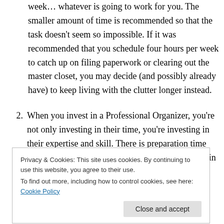week… whatever is going to work for you. The smaller amount of time is recommended so that the task doesn't seem so impossible. If it was recommended that you schedule four hours per week to catch up on filing paperwork or clearing out the master closet, you may decide (and possibly already have) to keep living with the clutter longer instead.
2. When you invest in a Professional Organizer, you're not only investing in their time, you're investing in their expertise and skill. There is preparation time put into each appointment. It's a better investment in their time
Privacy & Cookies: This site uses cookies. By continuing to use this website, you agree to their use. To find out more, including how to control cookies, see here: Cookie Policy
3. By selecting a Professional Organizer who specializes...